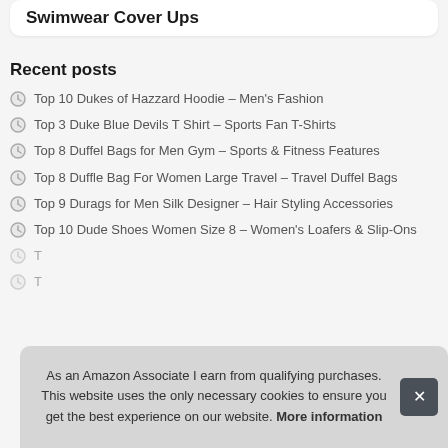Swimwear Cover Ups
Recent posts
Top 10 Dukes of Hazzard Hoodie – Men's Fashion
Top 3 Duke Blue Devils T Shirt – Sports Fan T-Shirts
Top 8 Duffel Bags for Men Gym – Sports & Fitness Features
Top 8 Duffle Bag For Women Large Travel – Travel Duffel Bags
Top 9 Durags for Men Silk Designer – Hair Styling Accessories
Top 10 Dude Shoes Women Size 8 – Women's Loafers & Slip-Ons
T...
T...
As an Amazon Associate I earn from qualifying purchases. This website uses the only necessary cookies to ensure you get the best experience on our website. More information